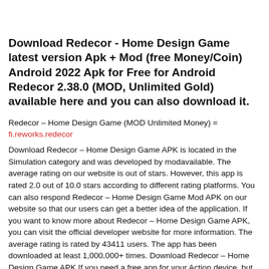Download Redecor - Home Design Game latest version Apk + Mod (free Money/Coin) Android 2022 Apk for Free for Android Redecor 2.38.0 (MOD, Unlimited Gold) available here and you can also download it.
Redecor – Home Design Game (MOD Unlimited Money) = fi.reworks.redecor
Download Redecor – Home Design Game APK is located in the Simulation category and was developed by modavailable. The average rating on our website is out of stars. However, this app is rated 2.0 out of 10.0 stars according to different rating platforms. You can also respond Redecor – Home Design Game Mod APK on our website so that our users can get a better idea of the application. If you want to know more about Redecor – Home Design Game APK, you can visit the official developer website for more information. The average rating is rated by 43411 users. The app has been downloaded at least 1,000,000+ times. Download Redecor – Home Design Game APK If you need a free app for your Action device, but you need version or higher to install it.